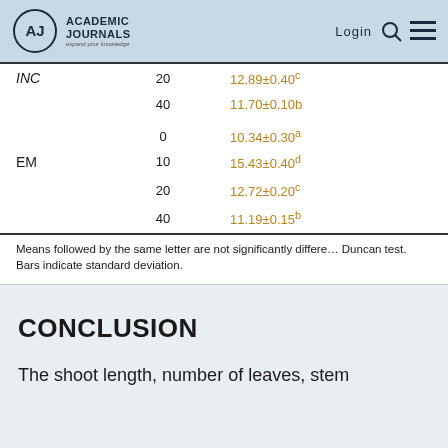Academic Journals — expand your knowledge | Login
| Treatment | Concentration | Value |
| --- | --- | --- |
| INC | 20 | 12.89±0.40c |
|  | 40 | 11.70±0.10b |
| EM | 0 | 10.34±0.30a |
| EM | 10 | 15.43±0.40d |
| EM | 20 | 12.72±0.20c |
| EM | 40 | 11.19±0.15b |
Means followed by the same letter are not significantly different according to Duncan test. Bars indicate standard deviation.
CONCLUSION
The shoot length, number of leaves, stem